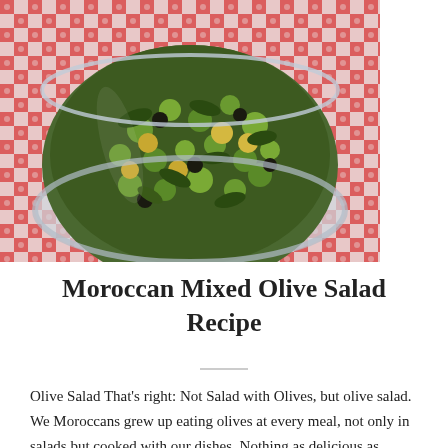[Figure (photo): A bowl of Moroccan mixed olive salad with green, yellow, and dark olives tossed with herbs, served in a glass bowl on a red and white checkered tablecloth.]
Moroccan Mixed Olive Salad Recipe
Olive Salad That's right: Not Salad with Olives, but olive salad. We Moroccans grew up eating olives at every meal, not only in salads but cooked with our dishes. Nothing as delicious as olives in tajines In this dish,